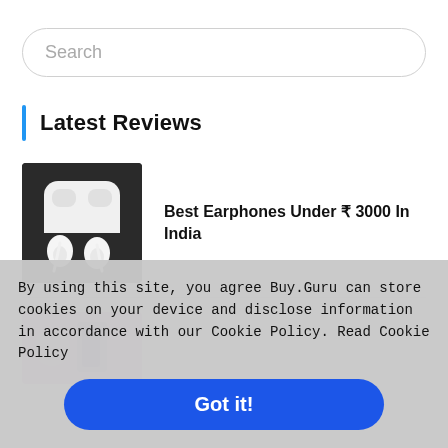Search
Latest Reviews
[Figure (photo): White wireless earbuds with charging case on dark background]
Best Earphones Under ₹ 3000 In India
[Figure (photo): Product image partially visible, purple/pink toned]
By using this site, you agree Buy.Guru can store cookies on your device and disclose information in accordance with our Cookie Policy. Read Cookie Policy
Got it!